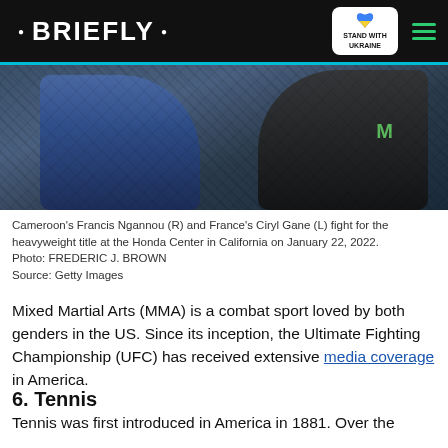• BRIEFLY •
[Figure (photo): Two MMA fighters exchanging punches inside a chain-link cage. One fighter wears blue shorts (left), the other wears black shorts with a Monster Energy logo (right).]
Cameroon's Francis Ngannou (R) and France's Ciryl Gane (L) fight for the heavyweight title at the Honda Center in California on January 22, 2022.
Photo: FREDERIC J. BROWN
Source: Getty Images
Mixed Martial Arts (MMA) is a combat sport loved by both genders in the US. Since its inception, the Ultimate Fighting Championship (UFC) has received extensive media coverage in America.
6. Tennis
Tennis was first introduced in America in 1881. Over the